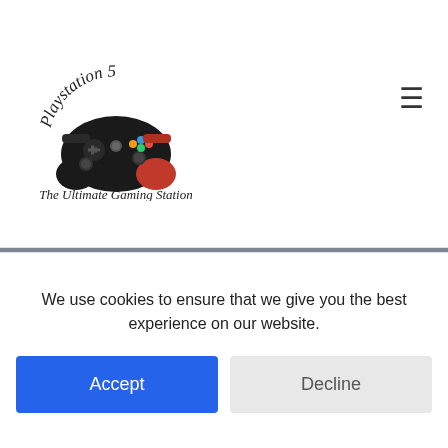[Figure (logo): PlayStation 5 gaming controller logo with text 'Playstation 5' in cursive arc above and 'The Ultimate Gaming Station' below]
NexiGo PS5 Stand with RGB LED Light, Hard Drive Slot, Headset and Remote Holders, Dual Controller Charging Station for Playstation 5 Console, 10
We use cookies to ensure that we give you the best experience on our website.